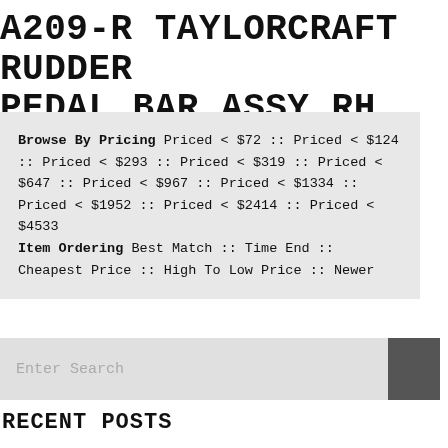A209-R TAYLORCRAFT RUDDER PEDAL BAR ASSY RH
Browse By Pricing Priced < $72 :: Priced < $124 :: Priced < $293 :: Priced < $319 :: Priced < $647 :: Priced < $967 :: Priced < $1334 :: Priced < $1952 :: Priced < $2414 :: Priced < $4533 Item Ordering Best Match :: Time End :: Cheapest Price :: High To Low Price :: Newer
RECENT POSTS